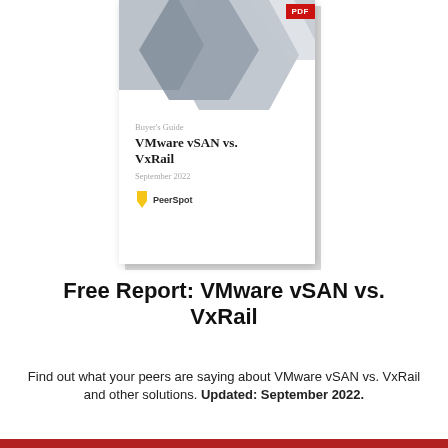[Figure (illustration): Book cover thumbnail showing VMware vSAN vs. VxRail Buyer's Guide PDF report with geometric hexagon shapes in grey tones on top, PDF badge in red top right, and PeerSpot logo at bottom of cover.]
Free Report: VMware vSAN vs. VxRail
Find out what your peers are saying about VMware vSAN vs. VxRail and other solutions. Updated: September 2022.